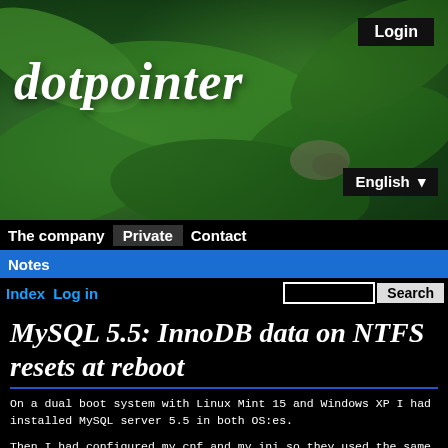[Figure (photo): Green leafy plant background for website header]
Login
dotpointer
English ▼
The company  Private  Contact
Notes
Index  Log in  [Search box]  Search
MySQL 5.5: InnoDB data on NTFS resets at reboot
On a dual boot system with Linux Mint 15 and Windows XP I had installed MySQL server 5.5 in both OS:es.
Then I had configured my.cnf and my.ini so they used the same directory located on the Windows XP NTFS partition for database storage.
This made it possible to access the database from both Linux Mint and Windows XP.